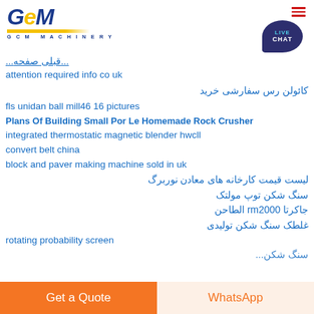GCM MACHINERY
attention required info co uk
کائولن رس سفارشی خرید
fls unidan ball mill46 16 pictures
Plans Of Building Small Por Le Homemade Rock Crusher
integrated thermostatic magnetic blender hwcll
convert belt china
block and paver making machine sold in uk
لیست قیمت کارخانه های معادن نوربرگ
سنگ شکن توپ مولتک
جاکرتا rm2000 الطاحن
غلطک سنگ شکن تولیدی
rotating probability screen
سنگ شکن...
Get a Quote | WhatsApp